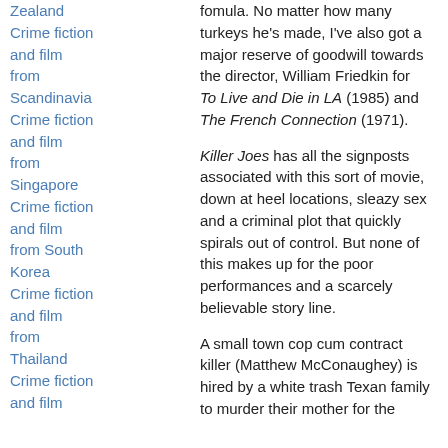Zealand
Crime fiction and film from Scandinavia
Crime fiction and film from Singapore
Crime fiction and film from South Korea
Crime fiction and film from Thailand
Crime fiction and film
fomula. No matter how many turkeys he's made, I've also got a major reserve of goodwill towards the director, William Friedkin for To Live and Die in LA (1985) and The French Connection (1971).
Killer Joes has all the signposts associated with this sort of movie, down at heel locations, sleazy sex and a criminal plot that quickly spirals out of control. But none of this makes up for the poor performances and a scarcely believable story line.
A small town cop cum contract killer (Matthew McConaughey) is hired by a white trash Texan family to murder their mother for the